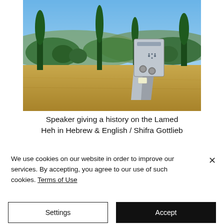[Figure (photo): Outdoor photo of an audio speaker kiosk/monument with a metal panel and buttons, set in a dry grassy landscape with tall cypress trees and hills in the background under a clear blue sky.]
Speaker giving a history on the Lamed Heh in Hebrew & English / Shifra Gottlieb
We use cookies on our website in order to improve our services. By accepting, you agree to our use of such cookies. Terms of Use